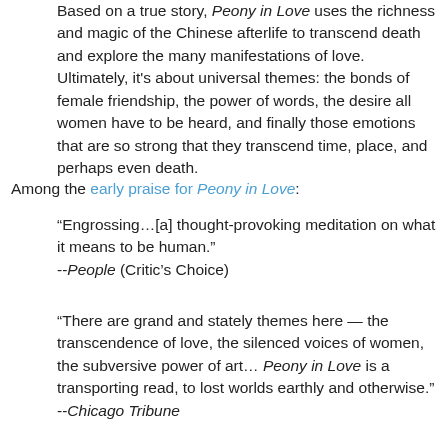Based on a true story, Peony in Love uses the richness and magic of the Chinese afterlife to transcend death and explore the many manifestations of love. Ultimately, it's about universal themes: the bonds of female friendship, the power of words, the desire all women have to be heard, and finally those emotions that are so strong that they transcend time, place, and perhaps even death.
Among the early praise for Peony in Love:
“Engrossing…[a] thought-provoking meditation on what it means to be human.” --People (Critic’s Choice)
“There are grand and stately themes here — the transcendence of love, the silenced voices of women, the subversive power of art… Peony in Love is a transporting read, to lost worlds earthly and otherwise.” --Chicago Tribune